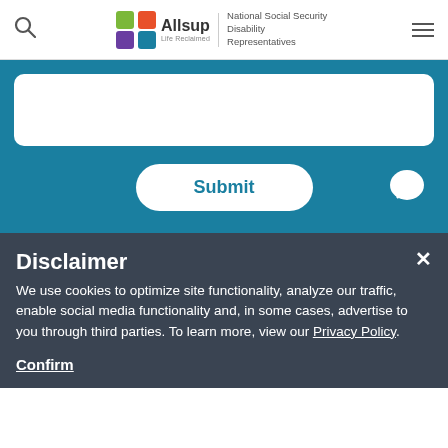[Figure (logo): Allsup logo with colorful icon, 'Allsup Life Reclaimed' text, divider, and 'National Social Security Disability Representatives' subtitle]
[Figure (screenshot): White rounded search input box on teal background]
[Figure (screenshot): Submit button (white rounded pill) and chat bubble icon on teal background]
Disclaimer
We use cookies to optimize site functionality, analyze our traffic, enable social media functionality and, in some cases, advertise to you through third parties. To learn more, view our Privacy Policy.
Confirm